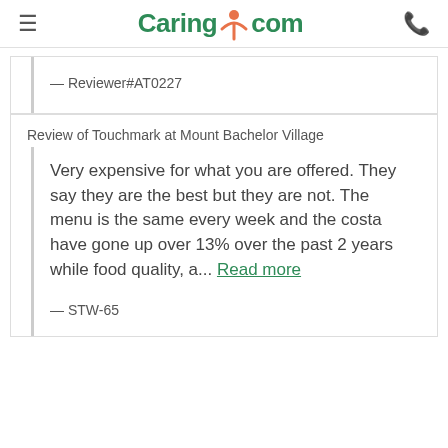Caring.com
— Reviewer#AT0227
Review of Touchmark at Mount Bachelor Village
Very expensive for what you are offered. They say they are the best but they are not. The menu is the same every week and the costa have gone up over 13% over the past 2 years while food quality, a... Read more
— STW-65